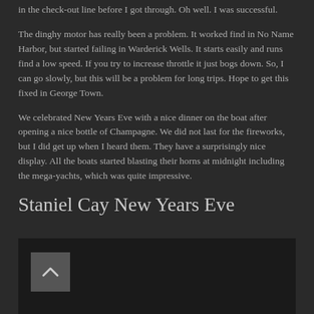in the check-out line before I got through.  Oh well.  I was successful.
The dinghy motor has really been a problem.  It worked find in No Name Harbor, but started failing in Warderick Wells.  It starts easily and runs find a low speed.  If you try to increase throttle it just bogs down.  So, I can go slowly, but this will be a problem for long trips.  Hope to get this fixed in George Town.
We celebrated New Years Eve with a nice dinner on the boat after opening a nice bottle of Champagne.  We did not last for the fireworks, but I did get up when I heard them.  They have a surprisingly nice display.  All the boats started blasting their horns at midnight including the mega-yachts, which was quite impressive.
Staniel Cay New Years Eve
[Figure (photo): Dark image area with a navigation/scroll up button (chevron icon in a grey square) visible in the upper left corner.]